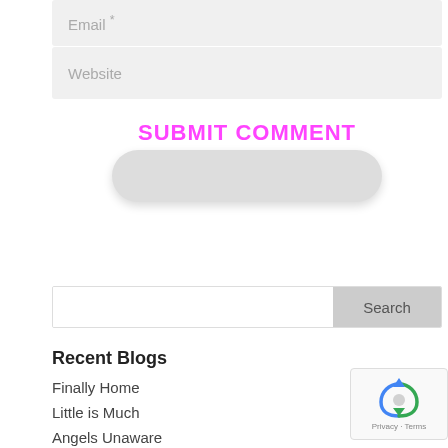Email *
Website
SUBMIT COMMENT
Search
Recent Blogs
Finally Home
Little is Much
Angels Unaware